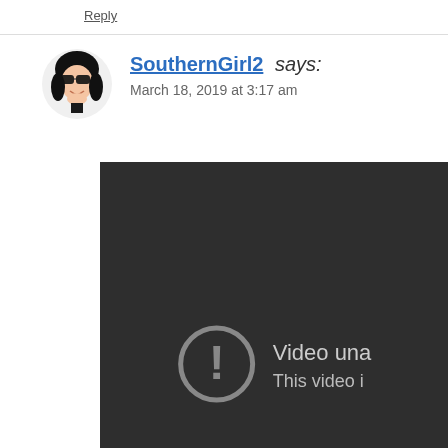Reply
SouthernGirl2 says:
March 18, 2019 at 3:17 am
[Figure (screenshot): A video player showing an error state with a circle-exclamation icon and text 'Video una...' and 'This video i...' on a dark background]